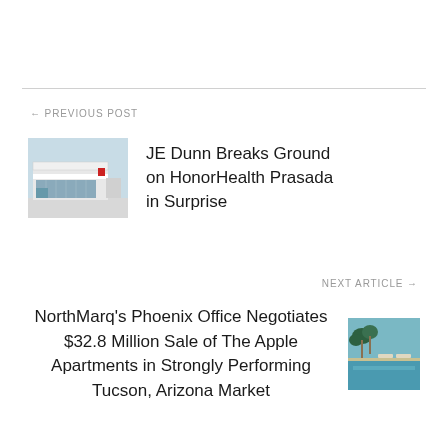← PREVIOUS POST
JE Dunn Breaks Ground on HonorHealth Prasada in Surprise
NEXT ARTICLE →
NorthMarq's Phoenix Office Negotiates $32.8 Million Sale of The Apple Apartments in Strongly Performing Tucson, Arizona Market